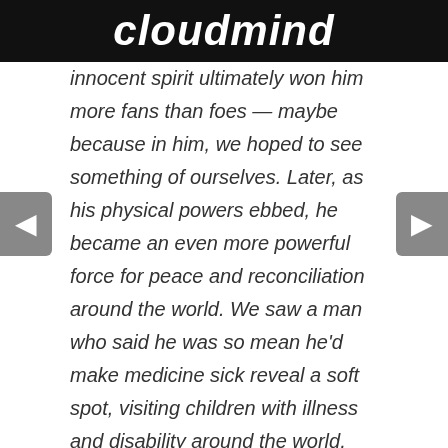cloudmind
innocent spirit ultimately won him more fans than foes — maybe because in him, we hoped to see something of ourselves. Later, as his physical powers ebbed, he became an even more powerful force for peace and reconciliation around the world. We saw a man who said he was so mean he'd make medicine sick reveal a soft spot, visiting children with illness and disability around the world, telling them they, too, could become the greatest. We watched a hero light a torch, and fight his greatest fight of all on the world stage once again; a battle against the disease